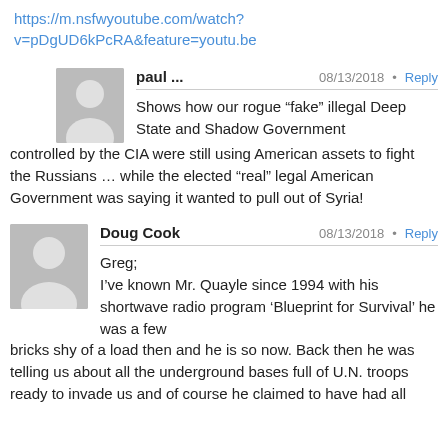https://m.nsfwyoutube.com/watch?v=pDgUD6kPcRA&feature=youtu.be
paul ...
08/13/2018 • Reply
Shows how our rogue “fake” illegal Deep State and Shadow Government controlled by the CIA were still using American assets to fight the Russians … while the elected “real” legal American Government was saying it wanted to pull out of Syria!
Doug Cook
08/13/2018 • Reply
Greg;
I’ve known Mr. Quayle since 1994 with his shortwave radio program ‘Blueprint for Survival’ he was a few bricks shy of a load then and he is so now. Back then he was telling us about all the underground bases full of U.N. troops ready to invade us and of course he claimed to have had all